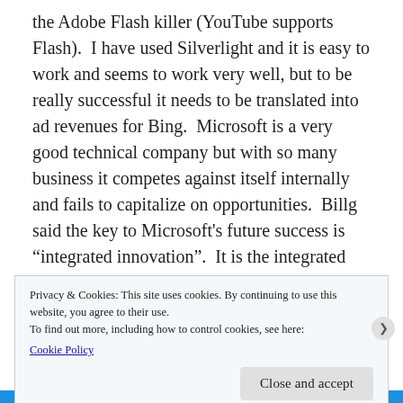the Adobe Flash killer (YouTube supports Flash).  I have used Silverlight and it is easy to work and seems to work very well, but to be really successful it needs to be translated into ad revenues for Bing.  Microsoft is a very good technical company but with so many business it competes against itself internally and fails to capitalize on opportunities.  Billg said the key to Microsoft's future success is "integrated innovation".  It is the integrated piece that is sorely lacking.  However if Microsoft can stop acting like the US Congress the opportunity to lead as a technical leader and not a
Privacy & Cookies: This site uses cookies. By continuing to use this website, you agree to their use.
To find out more, including how to control cookies, see here:
Cookie Policy
Close and accept